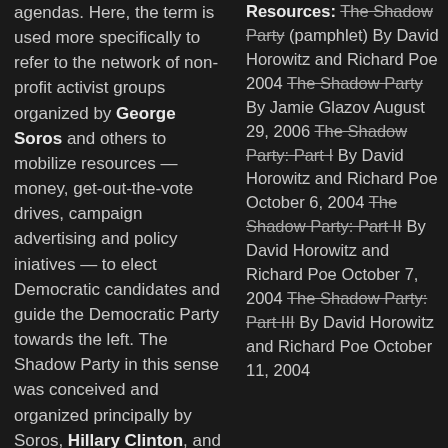agendas. Here, the term is used more specifically to refer to the network of non-profit activist groups organized by George Soros and others to mobilize resources — money, get-out-the-vote drives, campaign advertising and policy iniatives — to elect Democratic candidates and guide the Democratic Party towards the left. The Shadow Party in this sense was conceived and organized principally by Soros, Hillary Clinton, and Harold Ickes. Its efforts are amplified by, and coordinated with, key government unions and the activist groups associated with the Association of Community Organizations for Reform Now (ACORN). The key organizers of
Resources: The Shadow Party (pamphlet) By David Horowitz and Richard Poe 2004 The Shadow Party By Jamie Glazov August 29, 2006 The Shadow Party: Part I By David Horowitz and Richard Poe October 6, 2004 The Shadow Party: Part II By David Horowitz and Richard Poe October 7, 2004 The Shadow Party: Part III By David Horowitz and Richard Poe October 11, 2004